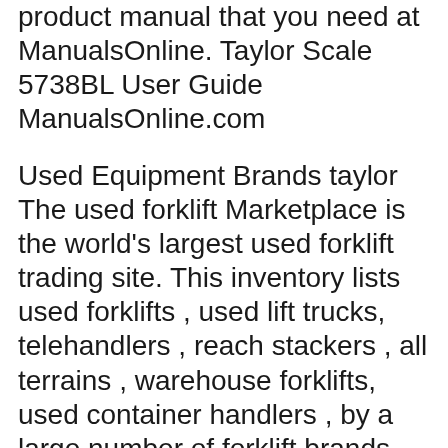product manual that you need at ManualsOnline. Taylor Scale 5738BL User Guide ManualsOnline.com
Used Equipment Brands taylor The used forklift Marketplace is the world's largest used forklift trading site. This inventory lists used forklifts , used lift trucks, telehandlers , reach stackers , all terrains , warehouse forklifts, used container handlers , by a large number of forklift brands including taylor . Controlling engine and transmission temperatures in your 2005 Taylor Forklifts THDC-975 is a difficult job. While the radiator, cooling fan relay (or fan clutch), and cooling fan keep coolant from getting too hot, the